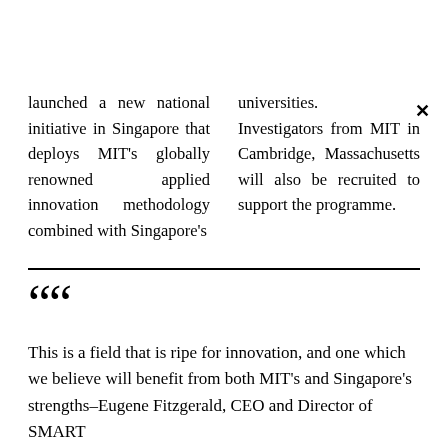launched a new national initiative in Singapore that deploys MIT's globally renowned applied innovation methodology combined with Singapore's
universities. Investigators from MIT in Cambridge, Massachusetts will also be recruited to support the programme.
““ This is a field that is ripe for innovation, and one which we believe will benefit from both MIT’s and Singapore’s strengths–Eugene Fitzgerald, CEO and Director of SMART